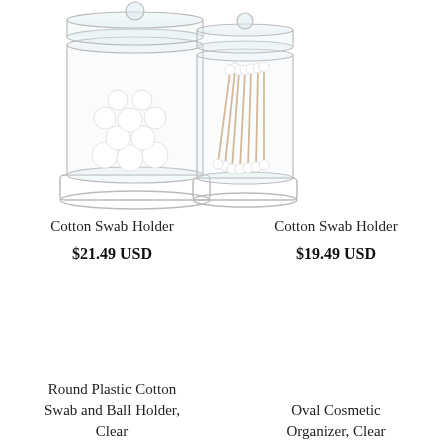[Figure (photo): Two clear glass apothecary jars with ball lids: left jar contains white cotton balls, right jar contains cotton swabs]
Cotton Swab Holder
$21.49 USD
Cotton Swab Holder
$19.49 USD
Round Plastic Cotton Swab and Ball Holder, Clear
Oval Cosmetic Organizer, Clear